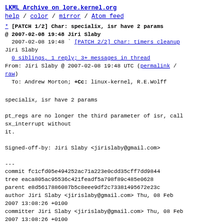LKML Archive on lore.kernel.org
help / color / mirror / Atom feed
* [PATCH 1/2] Char: specialix, isr have 2 params
@ 2007-02-08 19:48 Jiri Slaby
  2007-02-08 19:48 ` [PATCH 2/2] Char: timers cleanup
Jiri Slaby
  0 siblings, 1 reply; 3+ messages in thread
From: Jiri Slaby @ 2007-02-08 19:48 UTC (permalink / raw)
  To: Andrew Morton; +Cc: linux-kernel, R.E.Wolff
specialix, isr have 2 params
pt_regs are no longer the third parameter of isr, call sx_interrupt without
it.
Signed-off-by: Jiri Slaby <jirislaby@gmail.com>
---
commit fc1cfd05e494252ac71a223e0cdd35cff7dd9844
tree eaca805ac95536c421feadf5a798f89c485e0628
parent e8d5617886087b5c8eee9df2c73381495672e23c
author Jiri Slaby <jirislaby@gmail.com> Thu, 08 Feb 2007 13:08:26 +0100
committer Jiri Slaby <jirislaby@gmail.com> Thu, 08 Feb 2007 13:08:26 +0100
drivers/char/specialix.c |    2 +